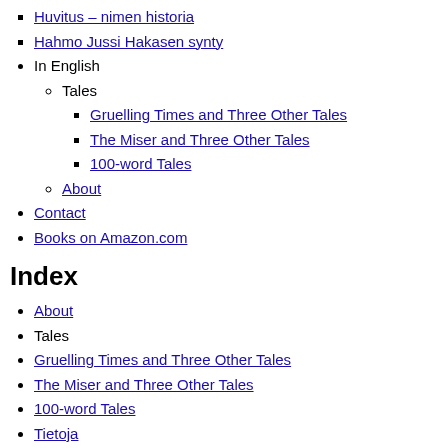Huvitus – nimen historia
Hahmo Jussi Hakasen synty
In English
Tales
Gruelling Times and Three Other Tales
The Miser and Three Other Tales
100-word Tales
About
Contact
Books on Amazon.com
Index
About
Tales
Gruelling Times and Three Other Tales
The Miser and Three Other Tales
100-word Tales
Tietoja
Huvitus – nimen historia
Hahmo Jussi Hakasen synty
Älä seuraa Jeesusta
Sadut
Kitupiikki ja kolme muuta satua